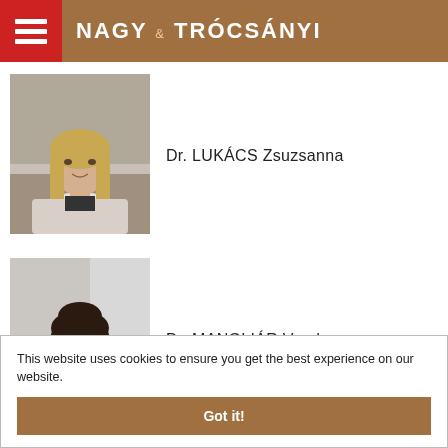NAGY & TRÓCSÁNYI
[Figure (photo): Professional portrait photo of Dr. LUKÁCS Zsuzsanna, a young woman with long blonde hair wearing a light-colored blazer, seated in an office setting]
Dr. LUKÁCS Zsuzsanna
[Figure (photo): Professional portrait photo of Dr. MANGLIÁR Vanda, a young woman with dark hair pulled back, wearing a dark blazer in an office setting]
Dr. MANGLIÁR Vanda
This website uses cookies to ensure you get the best experience on our website.
Got it!